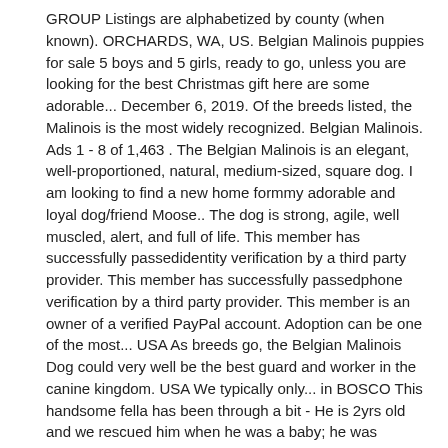GROUP Listings are alphabetized by county (when known). ORCHARDS, WA, US. Belgian Malinois puppies for sale 5 boys and 5 girls, ready to go, unless you are looking for the best Christmas gift here are some adorable... December 6, 2019. Of the breeds listed, the Malinois is the most widely recognized. Belgian Malinois. Ads 1 - 8 of 1,463 . The Belgian Malinois is an elegant, well-proportioned, natural, medium-sized, square dog. I am looking to find a new home formmy adorable and loyal dog/friend Moose.. The dog is strong, agile, well muscled, alert, and full of life. This member has successfully passedidentity verification by a third party provider. This member has successfully passedphone verification by a third party provider. This member is an owner of a verified PayPal account. Adoption can be one of the most... USA As breeds go, the Belgian Malinois Dog could very well be the best guard and worker in the canine kingdom. USA We typically only... in BOSCO This handsome fella has been through a bit - He is 2yrs old and we rescued him when he was a baby; he was adopted and then we were made aware he was found as a stray a week ago - He needs love - He needs to rebuild trust - He needs a wonderful patient home to help him get back all of this - He is up to … Horse Care. Cute Male Belgian Malinois Puppy . Six males, 3 females (yellow, pink, orange). Look at pictures of Belgian Malinois puppies in Massachusetts who need a home. His elegance and expression